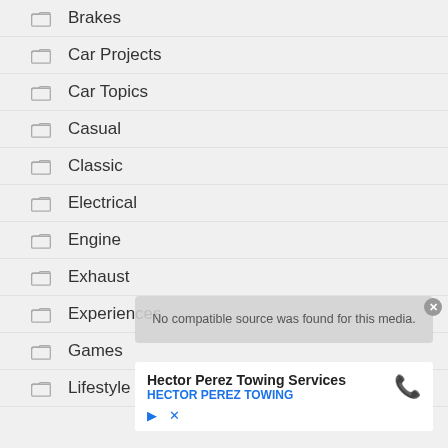Brakes
Car Projects
Car Topics
Casual
Classic
Electrical
Engine
Exhaust
Experiences
Games
Lifestyle
[Figure (screenshot): Video player overlay showing 'No compatible source was found for this media.' with close button]
Hector Perez Towing Services HECTOR PEREZ TOWING